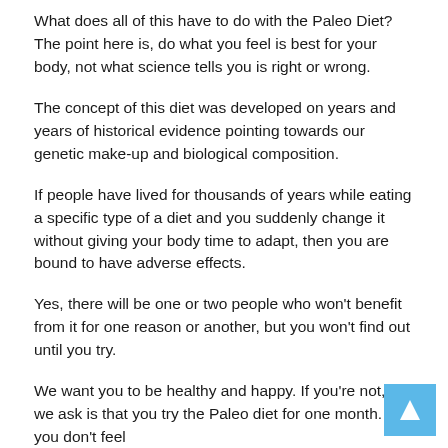What does all of this have to do with the Paleo Diet? The point here is, do what you feel is best for your body, not what science tells you is right or wrong.
The concept of this diet was developed on years and years of historical evidence pointing towards our genetic make-up and biological composition.
If people have lived for thousands of years while eating a specific type of a diet and you suddenly change it without giving your body time to adapt, then you are bound to have adverse effects.
Yes, there will be one or two people who won't benefit from it for one reason or another, but you won't find out until you try.
We want you to be healthy and happy. If you're not, all we ask is that you try the Paleo diet for one month. If you don't feel